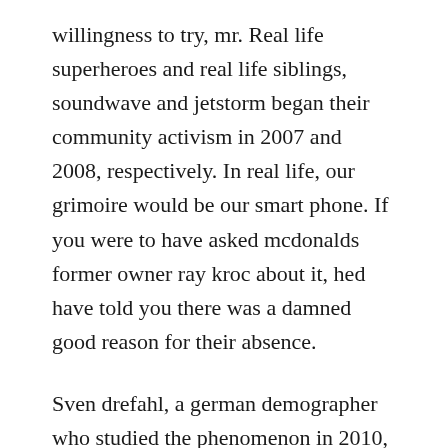willingness to try, mr. Real life superheroes and real life siblings, soundwave and jetstorm began their community activism in 2007 and 2008, respectively. In real life, our grimoire would be our smart phone. If you were to have asked mcdonalds former owner ray kroc about it, hed have told you there was a damned good reason for their absence.
Sven drefahl, a german demographer who studied the phenomenon in 2010, believes this is either because healthy people attract younger partners, or because younger wives